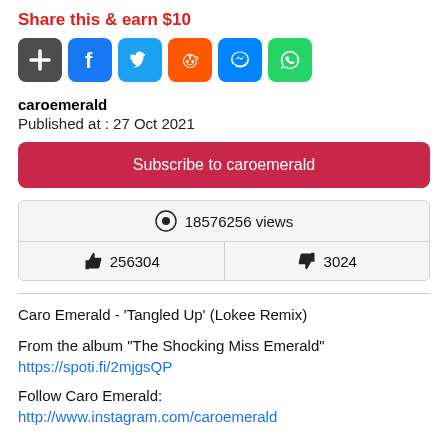Share this & earn $10
[Figure (infographic): Six social sharing buttons: Add (+), Facebook, Twitter, Reddit, Messenger, WhatsApp]
caroemerald
Published at : 27 Oct 2021
Subscribe to caroemerald
18576256 views
256304
3024
Caro Emerald - 'Tangled Up' (Lokee Remix)
From the album "The Shocking Miss Emerald"
https://spoti.fi/2mjgsQP
Follow Caro Emerald:
http://www.instagram.com/caroemerald